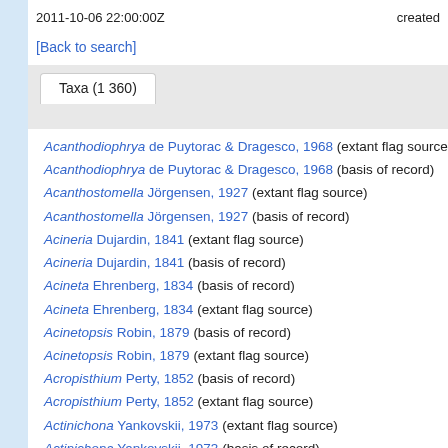2011-10-06 22:00:00Z    created
[Back to search]
Taxa (1 360)
Acanthodiophrya de Puytorac & Dragesco, 1968 (extant flag source)
Acanthodiophrya de Puytorac & Dragesco, 1968 (basis of record)
Acanthostomella Jörgensen, 1927 (extant flag source)
Acanthostomella Jörgensen, 1927 (basis of record)
Acineria Dujardin, 1841 (extant flag source)
Acineria Dujardin, 1841 (basis of record)
Acineta Ehrenberg, 1834 (basis of record)
Acineta Ehrenberg, 1834 (extant flag source)
Acinetopsis Robin, 1879 (basis of record)
Acinetopsis Robin, 1879 (extant flag source)
Acropisthium Perty, 1852 (basis of record)
Acropisthium Perty, 1852 (extant flag source)
Actinichona Yankovskii, 1973 (extant flag source)
Actinichona Yankovskii, 1973 (basis of record)
Actinobolina Strand, 1928 (basis of record)